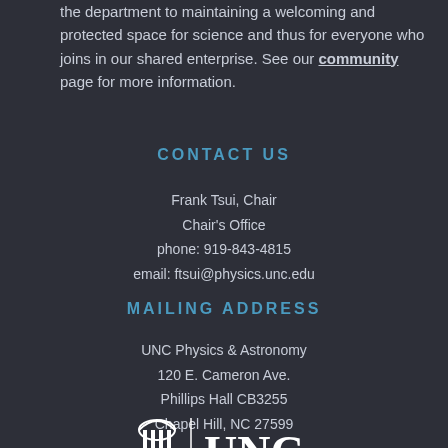the department to maintaining a welcoming and protected space for science and thus for everyone who joins in our shared enterprise. See our community page for more information.
CONTACT US
Frank Tsui, Chair
Chair's Office
phone: 919-843-4815
email: ftsui@physics.unc.edu
MAILING ADDRESS
UNC Physics & Astronomy
120 E. Cameron Ave.
Phillips Hall CB3255
Chapel Hill, NC 27599
[Figure (logo): UNC logo with building icon and UNC text]